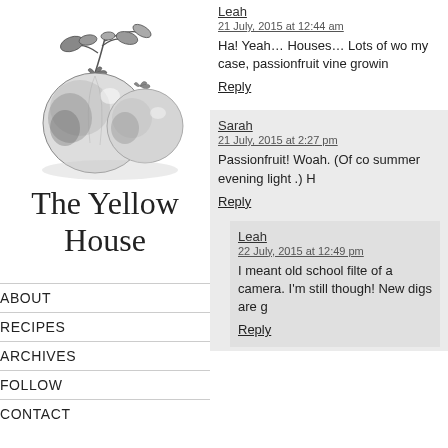[Figure (illustration): Black and white pencil illustration of two tomatoes with leafy vine stems]
The Yellow House
ABOUT
RECIPES
ARCHIVES
FOLLOW
CONTACT
Leah
21 July, 2015 at 12:44 am
Ha! Yeah… Houses… Lots of wo my case, passionfruit vine growin
Reply
Sarah
21 July, 2015 at 2:27 pm
Passionfruit! Woah. (Of co summer evening light .) H
Reply
Leah
22 July, 2015 at 12:49 pm
I meant old school filte of a camera. I'm still though! New digs are g
Reply